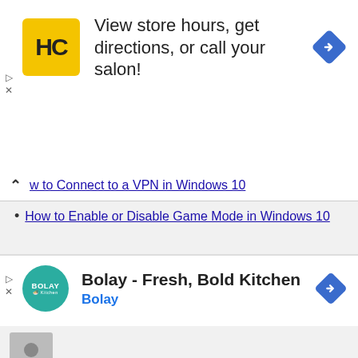[Figure (other): Advertisement: HC (Hair Cuttery) logo with yellow background, text 'View store hours, get directions, or call your salon!' and blue diamond navigation icon]
w to Connect to a VPN in Windows 10
How to Enable or Disable Game Mode in Windows 10
[Figure (other): Advertisement: Bolay Kitchen circular teal logo, title 'Bolay - Fresh, Bold Kitchen', subtitle 'Bolay' in blue, and blue diamond navigation icon]
Angelyn Lukehart said on March 29, 2017 at 1:34 pm